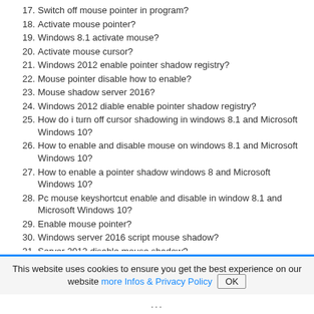17. Switch off mouse pointer in program?
18. Activate mouse pointer?
19. Windows 8.1 activate mouse?
20. Activate mouse cursor?
21. Windows 2012 enable pointer shadow registry?
22. Mouse pointer disable how to enable?
23. Mouse shadow server 2016?
24. Windows 2012 diable enable pointer shadow registry?
25. How do i turn off cursor shadowing in windows 8.1 and Microsoft Windows 10?
26. How to enable and disable mouse on windows 8.1 and Microsoft Windows 10?
27. How to enable a pointer shadow windows 8 and Microsoft Windows 10?
28. Pc mouse keyshortcut enable and disable in window 8.1 and Microsoft Windows 10?
29. Enable mouse pointer?
30. Windows server 2016 script mouse shadow?
31. Server 2012 disable mouse shadow?
32. How to disable win2012 cursor shadow?
33. Activate pointer windows 8.1 and Microsoft Windows 10?
34. Mouse pointer enable and disable in window 8.1 and Microsoft Windows 10?
35. How to enable a mouse on Windows program?
36. Enable mouse on windows 8 and Microsoft Windows 10?
37. How to enable the mouse pointer?
This website uses cookies to ensure you get the best experience on our website more Infos & Privacy Policy OK
...